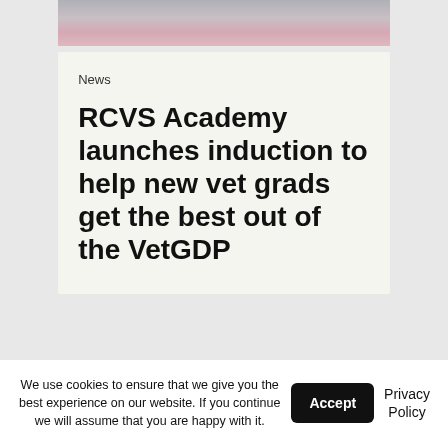[Figure (photo): Partial photo of a person in a pink/grey outfit, cropped at top of page]
News
RCVS Academy launches induction to help new vet grads get the best out of the VetGDP
We use cookies to ensure that we give you the best experience on our website. If you continue we will assume that you are happy with it.
Accept
Privacy Policy